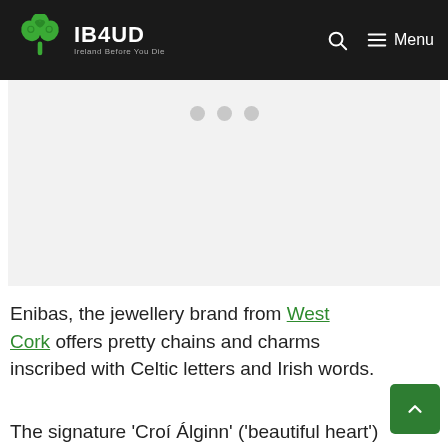IB4UD Ireland Before You Die
[Figure (other): Advertisement placeholder area with three grey dots]
Enibas, the jewellery brand from West Cork offers pretty chains and charms inscribed with Celtic letters and Irish words.
The signature 'Croí Álginn' ('beautiful heart')